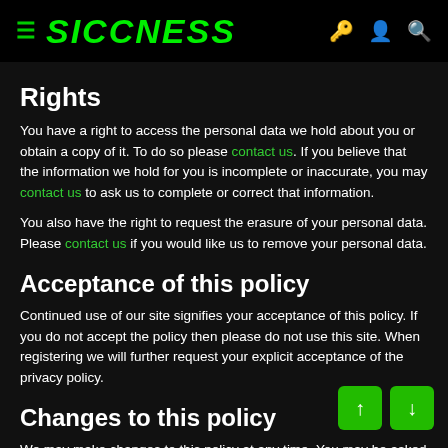SICCNESS
Rights
You have a right to access the personal data we hold about you or obtain a copy of it. To do so please contact us. If you believe that the information we hold for you is incomplete or inaccurate, you may contact us to ask us to complete or correct that information.
You also have the right to request the erasure of your personal data. Please contact us if you would like us to remove your personal data.
Acceptance of this policy
Continued use of our site signifies your acceptance of this policy. If you do not accept the policy then please do not use this site. When registering we will further request your explicit acceptance of the privacy policy.
Changes to this policy
We may make changes to this policy at any time. You may be asked to review and re-accept the information in this policy if it changes in the